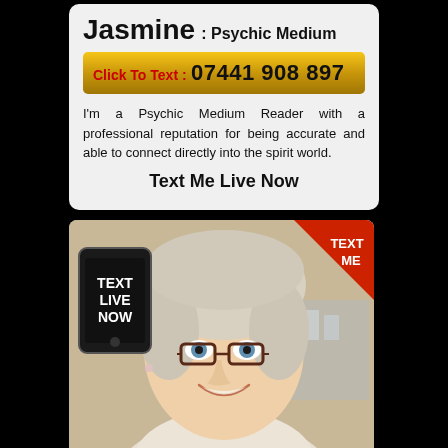Jasmine : Psychic Medium
Click To Text : 07441 908 897
I'm a Psychic Medium Reader with a professional reputation for being accurate and able to connect directly into the spirit world.
Text Me Live Now
[Figure (photo): Photo of a smiling older woman with short grey hair and brown reading glasses, wearing a light shirt. Overlaid on the photo are a smartphone graphic with 'TEXT LIVE NOW' text on its screen, and a red triangular banner in the top-right corner reading 'TEXT ME'.]